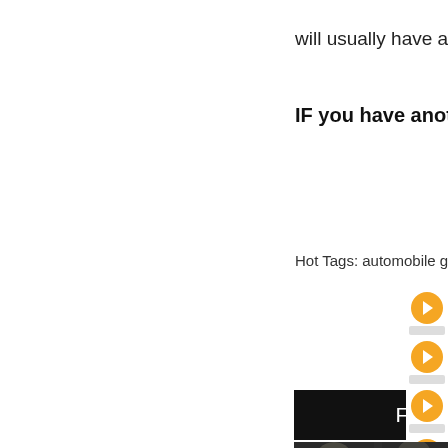will usually have a lower M
IF you have another
Hot Tags: automobile ge
Feedback
[Figure (photo): Interior of an industrial or parking facility with overhead lights, steel beams and columns]
[Figure (infographic): Blue Company Information panel with white bold text reading 'Company Information']